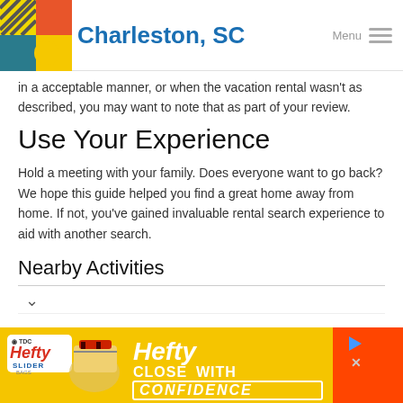Charleston, SC
in a acceptable manner, or when the vacation rental wasn't as described, you may want to note that as part of your review.
Use Your Experience
Hold a meeting with your family. Does everyone want to go back? We hope this guide helped you find a great home away from home. If not, you've gained invaluable rental search experience to aid with another search.
Nearby Activities
[Figure (screenshot): Hefty Slider Bags advertisement banner: yellow and orange background with Hefty logo, 'CLOSE WITH CONFIDENCE' text]
Hefty CLOSE WITH CONFIDENCE advertisement